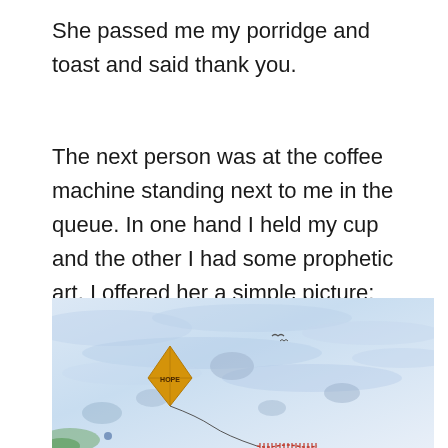She passed me my porridge and toast and said thank you.
The next person was at the coffee machine standing next to me in the queue. In one hand I held my cup and the other I had some prophetic art. I offered her a simple picture:
[Figure (illustration): Watercolour painting of a yellow/orange diamond-shaped kite flying in a blue-white sky with wispy clouds. The kite has text on it reading 'HOPE' and a tail with decorative stitching/knots hanging below it. Small birds visible in the background sky.]